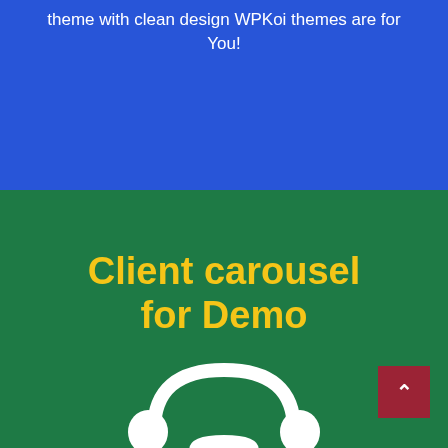theme with clean design WPKoi themes are for You!
Client carousel for Demo
[Figure (illustration): White icon of a person with headphones on a green background, partially visible at bottom of page]
[Figure (other): Dark red back-to-top button with upward chevron arrow in bottom right corner]